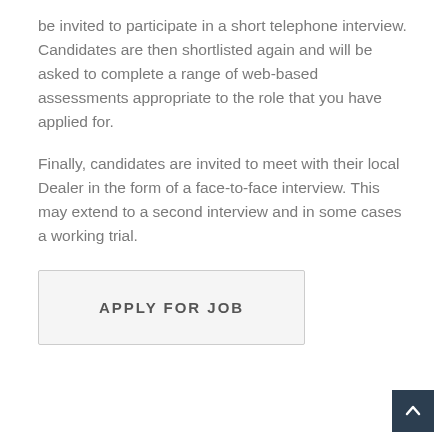be invited to participate in a short telephone interview. Candidates are then shortlisted again and will be asked to complete a range of web-based assessments appropriate to the role that you have applied for.
Finally, candidates are invited to meet with their local Dealer in the form of a face-to-face interview. This may extend to a second interview and in some cases a working trial.
APPLY FOR JOB